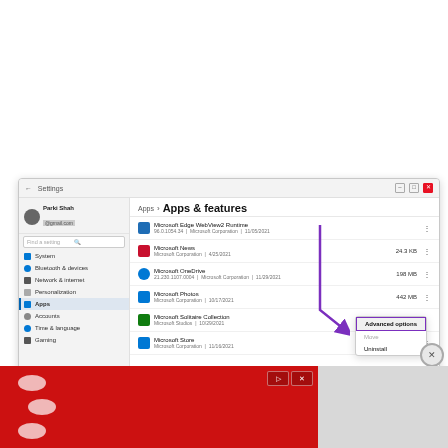[Figure (screenshot): Windows 11 Settings app showing Apps & features page. Left sidebar shows navigation including System, Bluetooth & devices, Network & internet, Personalization, Apps (selected), Accounts, Time & language, Gaming. Right panel lists Microsoft apps: Microsoft Edge WebView2 Runtime, Microsoft News (24.3 KB), Microsoft OneDrive (198 MB), Microsoft Photos (442 MB), Microsoft Solitaire Collection, Microsoft Store (178 KB). A context menu is open next to Microsoft Photos showing 'Advanced options', 'Move', 'Uninstall'. A purple annotation arrow points from upper-right area down to the 'Advanced options' menu item. An advertisement banner appears at the bottom with a red background and white dots, with close button overlay.]